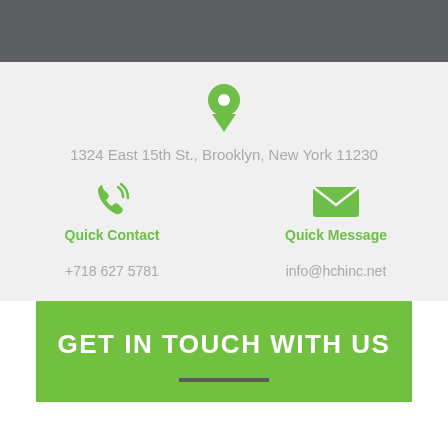[Figure (illustration): Green map pin / location marker icon]
1324 East 15th St., Brooklyn, New York 11230
[Figure (illustration): Green phone icon with signal waves]
Quick Contact
+718 627 5781
[Figure (illustration): Green envelope / email icon]
Quick Message
info@hchinc.net
GET IN TOUCH WITH US